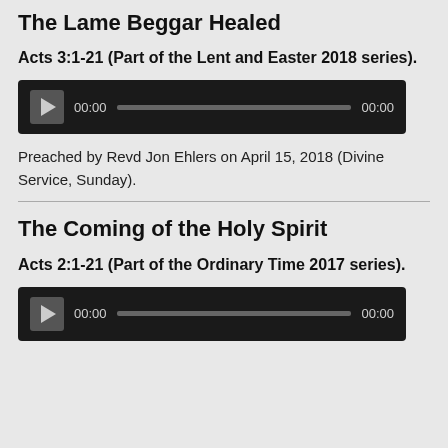The Lame Beggar Healed
Acts 3:1-21 (Part of the Lent and Easter 2018 series).
[Figure (other): Audio player widget with play button, time display 00:00, progress bar, and end time 00:00 on dark background]
Preached by Revd Jon Ehlers on April 15, 2018 (Divine Service, Sunday).
The Coming of the Holy Spirit
Acts 2:1-21 (Part of the Ordinary Time 2017 series).
[Figure (other): Audio player widget with play button, time display 00:00, progress bar, and end time 00:00 on dark background]